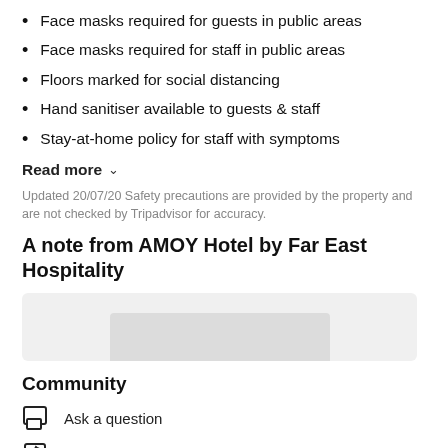Face masks required for guests in public areas
Face masks required for staff in public areas
Floors marked for social distancing
Hand sanitiser available to guests & staff
Stay-at-home policy for staff with symptoms
Read more
Updated 20/07/20 Safety precautions are provided by the property and are not checked by Tripadvisor for accuracy.
A note from AMOY Hotel by Far East Hospitality
[Figure (photo): Blurred/redacted image placeholder]
Community
Ask a question
Write a review